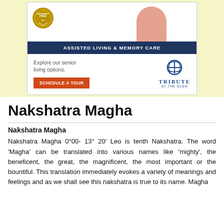[Figure (infographic): Advertisement for 'Tribute at the Glen' assisted living and memory care facility. Shows a photo of elderly person with a child, a gold badge, blue banner reading 'ASSISTED LIVING & MEMORY CARE', text 'Explore our senior living options.', a red 'SCHEDULE A TOUR' button, and the Tribute at the Glen logo.]
Nakshatra Magha
Nakshatra Magha
Nakshatra Magha 0°00- 13° 20′ Leo is tenth Nakshatra. The word ‘Magha’ can be translated into various names like ‘mighty’, the beneficent, the great, the magnificent, the most important or the bountiful. This translation immediately evokes a variety of meanings and feelings and as we shall see this nakshatra is true to its name. Magha